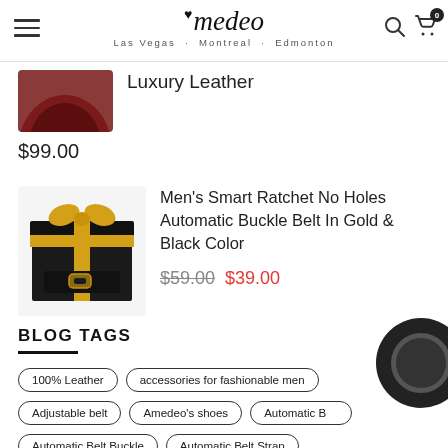Amedeo — Las Vegas · Montreal · Edmonton
[Figure (photo): Partially visible dark/burgundy circular leather product image cropped at top]
Luxury Leather
$99.00
[Figure (photo): Black gift box with gold ribbon containing a Men's ratchet belt]
Men's Smart Ratchet No Holes Automatic Buckle Belt In Gold & Black Color
$59.00  $39.00
BLOG TAGS
100% Leather
accessories for fashionable men
Adjustable belt
Amedeo's shoes
Automatic B...
Automatic Belt Buckle
Automatic Belt Strap